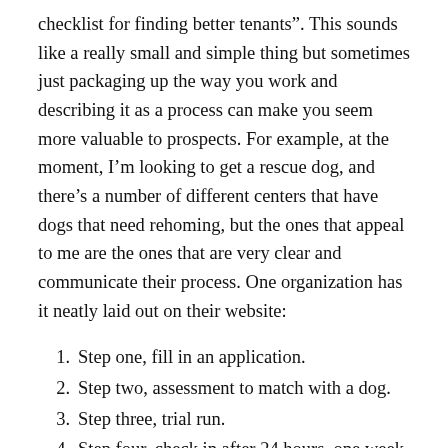checklist for finding better tenants". This sounds like a really small and simple thing but sometimes just packaging up the way you work and describing it as a process can make you seem more valuable to prospects. For example, at the moment, I’m looking to get a rescue dog, and there’s a number of different centers that have dogs that need rehoming, but the ones that appeal to me are the ones that are very clear and communicate their process. One organization has it neatly laid out on their website:
Step one, fill in an application.
Step two, assessment to match with a dog.
Step three, trial run.
Step four, check in after 24 hours, one week, one month, et cetera.